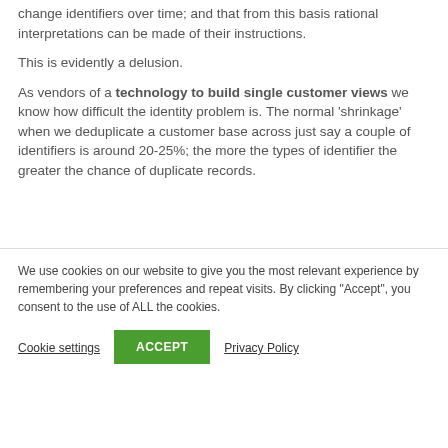change identifiers over time; and that from this basis rational interpretations can be made of their instructions.
This is evidently a delusion.
As vendors of a technology to build single customer views we know how difficult the identity problem is. The normal ‘shrinkage’ when we deduplicate a customer base across just say a couple of identifiers is around 20-25%; the more the types of identifier the greater the chance of duplicate records.
We use cookies on our website to give you the most relevant experience by remembering your preferences and repeat visits. By clicking “Accept”, you consent to the use of ALL the cookies.
Cookie settings | ACCEPT | Privacy Policy